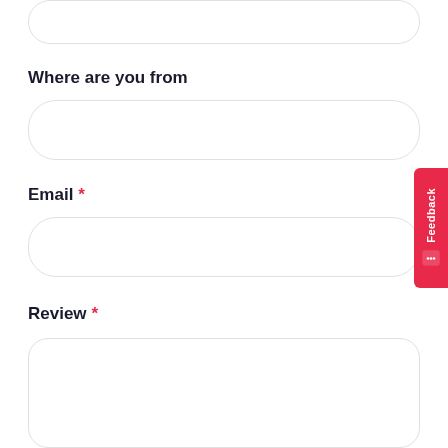Where are you from
Email *
Review *